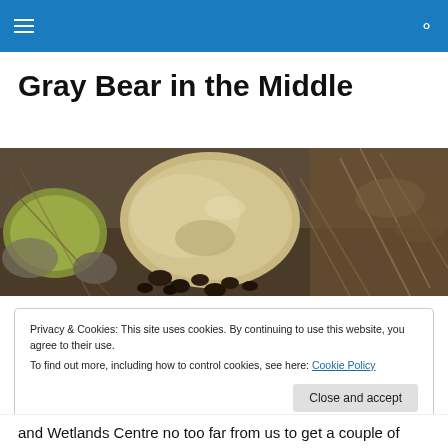Gray Bear in the Middle — navigation bar with hamburger menu and search icon
Gray Bear in the Middle
[Figure (photo): Close-up photo of rocks, pebbles, pine needles and small dark stones on the ground, serving as hero/banner image for the blog.]
Privacy & Cookies: This site uses cookies. By continuing to use this website, you agree to their use.
To find out more, including how to control cookies, see here: Cookie Policy
Close and accept
and Wetlands Centre no too far from us to get a couple of